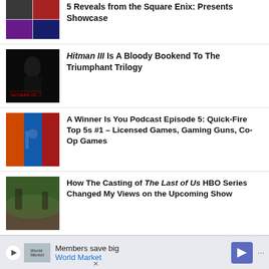5 Reveals from the Square Enix: Presents Showcase
Hitman III Is A Bloody Bookend To The Triumphant Trilogy
A Winner Is You Podcast Episode 5: Quick-Fire Top 5s #1 – Licensed Games, Gaming Guns, Co-Op Games
How The Casting of The Last of Us HBO Series Changed My Views on the Upcoming Show
A Hitman 3 Player Spent More Than 10 Hours Shaving Every Person in Murders Into A…
Members save big World Market